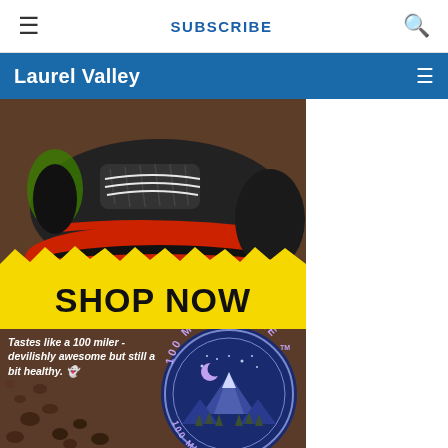≡   SUBSCRIBE   🔍
Laurel Valley  ≡
[Figure (photo): Close-up photo of a black and red trail running shoe on rocky ground, with yellow 'SHOP NOW' banner overlaid, and a 100 Mile Cookie circular logo badge below alongside text 'Tastes like a 100 miler - devilishly awesome but still a bit healthy. 👾']